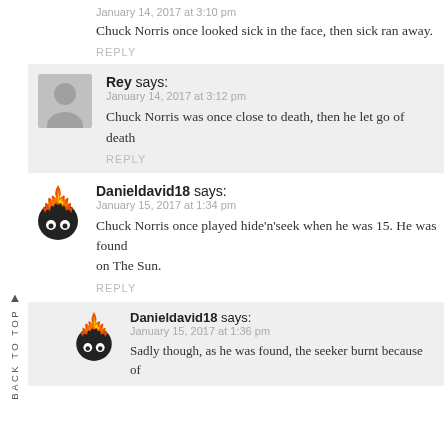January 14, 2017 at 3:10 pm
Chuck Norris once looked sick in the face, then sick ran away.
REPLY
Rey says:
January 14, 2017 at 3:12 pm
Chuck Norris was once close to death, then he let go of death.
REPLY
Danieldavid18 says:
January 15, 2017 at 1:34 pm
Chuck Norris once played hide'n'seek when he was 15. He was found on The Sun.
REPLY
Danieldavid18 says:
January 15, 2017 at 1:36 pm
Sadly though, as he was found, the seeker burnt because of